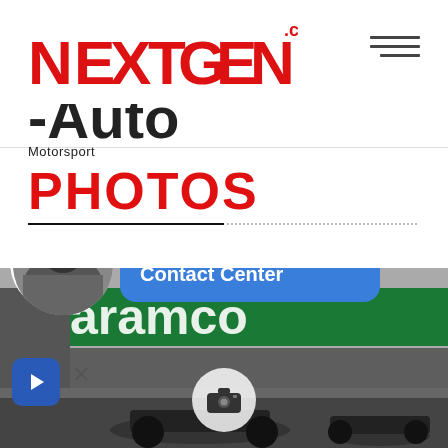[Figure (logo): Nextgen-Auto.com Motorsport logo with red and black text]
PHOTOS
[Figure (screenshot): Formula 1 racing cars on track with aramco sponsor banner, notification overlay showing 'AI Transforms the Contact Center', camera icon, and play button overlay]